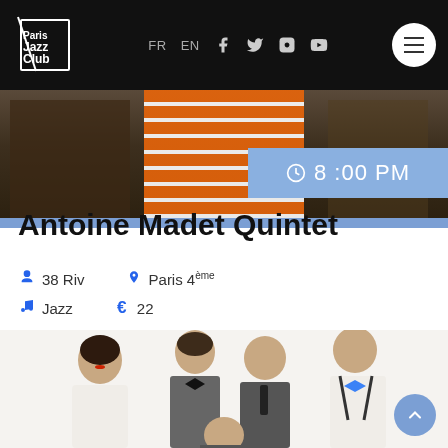Paris Jazz Club – FR EN – navigation header with social icons
[Figure (photo): Concert photo showing performer in orange striped jacket with blue time badge overlay showing 8:00 PM]
Antoine Madet Quintet
38 Riv  Paris 4ème  Jazz  € 22
[Figure (photo): Group photo of the Antoine Madet Quintet – five musicians in formal wear (white shirts, vests, bow ties, suspenders) posing together on white background]